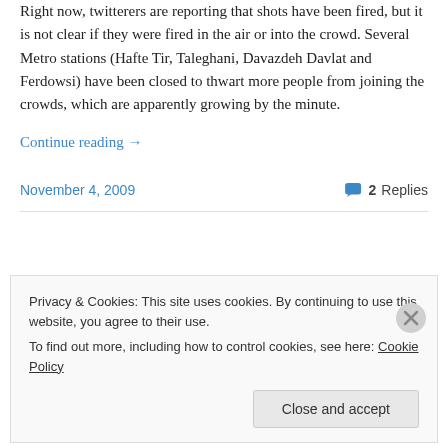Right now, twitterers are reporting that shots have been fired, but it is not clear if they were fired in the air or into the crowd. Several Metro stations (Hafte Tir, Taleghani, Davazdeh Davlat and Ferdowsi) have been closed to thwart more people from joining the crowds, which are apparently growing by the minute.
Continue reading →
November 4, 2009
2 Replies
Privacy & Cookies: This site uses cookies. By continuing to use this website, you agree to their use.
To find out more, including how to control cookies, see here: Cookie Policy
Close and accept